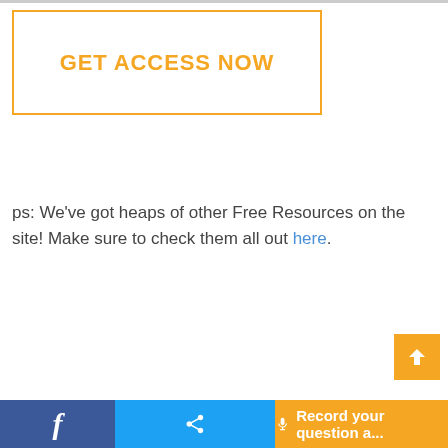[Figure (other): Orange-bordered call-to-action button box with text GET ACCESS NOW]
ps: We’ve got heaps of other Free Resources on the site! Make sure to check them all out here.
[Figure (other): Orange scroll-to-top button with upward chevron arrow]
Facebook icon | Share icon | Record your question a...